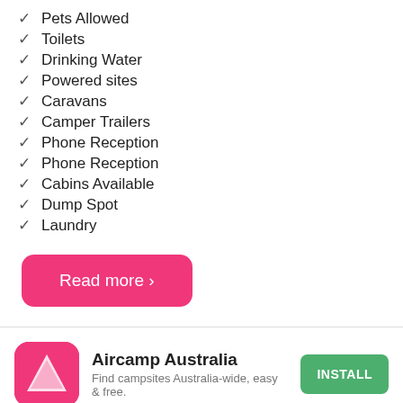✓ Pets Allowed
✓ Toilets
✓ Drinking Water
✓ Powered sites
✓ Caravans
✓ Camper Trailers
✓ Phone Reception
✓ Phone Reception
✓ Cabins Available
✓ Dump Spot
✓ Laundry
Read more ›
Aircamp Australia
Find campsites Australia-wide, easy & free.
INSTALL